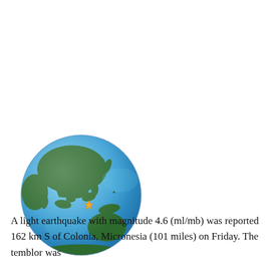[Figure (map): Globe map showing Asia-Pacific region centered, with an orange star marker indicating earthquake location approximately 162 km S of Colonia, Micronesia in the western Pacific Ocean.]
A light earthquake with magnitude 4.6 (ml/mb) was reported 162 km S of Colonia, Micronesia (101 miles) on Friday. The temblor was